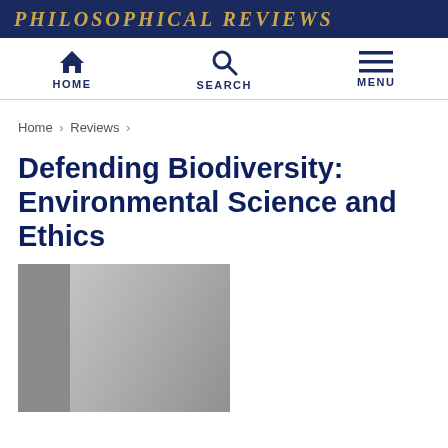PHILOSOPHICAL REVIEWS
[Figure (screenshot): Navigation bar with HOME, SEARCH, and MENU icons]
Home › Reviews ›
Defending Biodiversity: Environmental Science and Ethics
[Figure (photo): Book cover image (partially visible), gray tones showing book spine and cover]